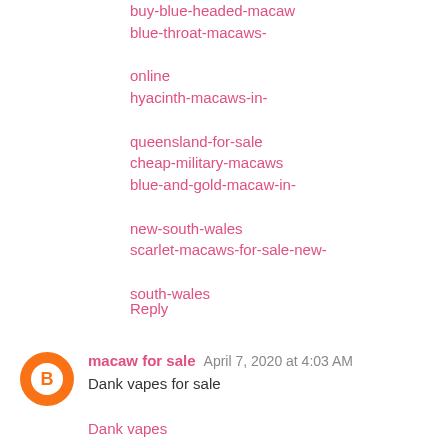buy-blue-headed-macaw blue-throat-macaws-

online hyacinth-macaws-in-

queensland-for-sale cheap-military-macaws blue-and-gold-macaw-in-

new-south-wales scarlet-macaws-for-sale-new-

south-wales
Reply
macaw for sale  April 7, 2020 at 4:03 AM
Dank vapes for sale
Dank vapes